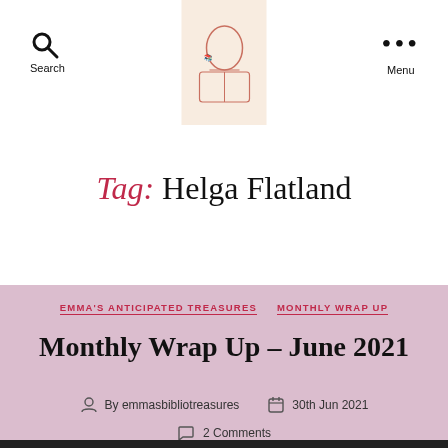Search | [Logo] | Menu
Tag: Helga Flatland
EMMA'S ANTICIPATED TREASURES   MONTHLY WRAP UP
Monthly Wrap Up – June 2021
By emmasbibliotreasures   30th Jun 2021
2 Comments